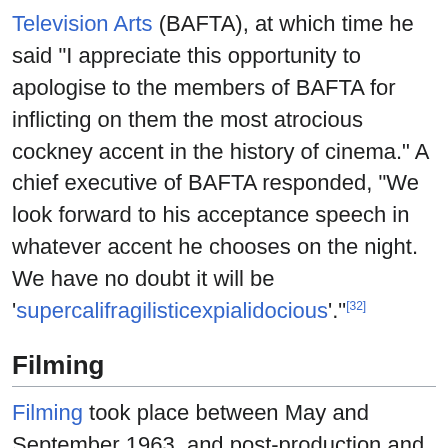Television Arts (BAFTA), at which time he said "I appreciate this opportunity to apologise to the members of BAFTA for inflicting on them the most atrocious cockney accent in the history of cinema." A chief executive of BAFTA responded, "We look forward to his acceptance speech in whatever accent he chooses on the night. We have no doubt it will be 'supercalifragilisticexpialidocious'."[32]
Filming
Filming took place between May and September 1963, and post-production and animation took another 11 months.[33]
[Figure (photo): A photo showing a scene with green foliage/jungle background and a person in a patterned shirt standing in the foreground.]